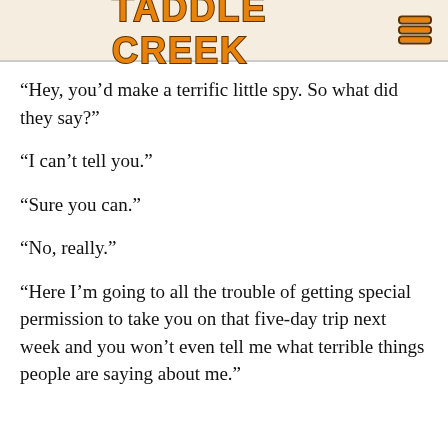TADDLE CREEK
“Hey, you’d make a terrific little spy. So what did they say?”
“I can’t tell you.”
“Sure you can.”
“No, really.”
“Here I’m going to all the trouble of getting special permission to take you on that five-day trip next week and you won’t even tell me what terrible things people are saying about me.”